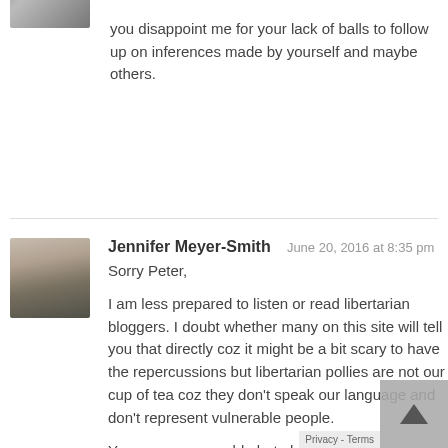[Figure (photo): Small avatar photo of a person at top left, partially visible]
you disappoint me for your lack of balls to follow up on inferences made by yourself and maybe others.
Jennifer Meyer-Smith   June 20, 2016 at 8:35 pm
[Figure (photo): Avatar photo of Jennifer Meyer-Smith]
Sorry Peter,

I am less prepared to listen or read libertarian bloggers. I doubt whether many on this site will tell you that directly coz it might be a bit scary to have the repercussions but libertarian pollies are not our cup of tea coz they don't speak our language and don't represent vulnerable people.

You seem reasonable but please see the difference between libertarianrism and neoliberalism before you seek support from and many others on this site.